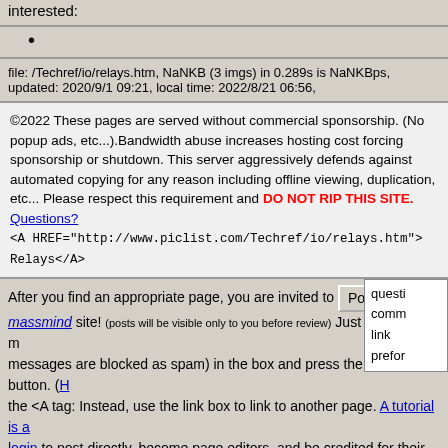interested:
file: /Techref/io/relays.htm, NaNKB (3 imgs) in 0.289s is NaNKBps, updated: 2020/9/1 09:21, local time: 2022/8/21 06:56,
©2022 These pages are served without commercial sponsorship. (No popup ads, etc...).Bandwidth abuse increases hosting cost forcing sponsorship or shutdown. This server aggressively defends against automated copying for any reason including offline viewing, duplication, etc... Please respect this requirement and DO NOT RIP THIS SITE. Questions?
<A HREF="http://www.piclist.com/Techref/io/relays.htm">
Relays</A>
After you find an appropriate page, you are invited to [Post] your mamassmind site! (posts will be visible only to you before review) Just type a nice m messages are blocked as spam) in the box and press the Post button. (H the <A tag: Instead, use the link box to link to another page. A tutorial is a login to post directly, become page editors, and be credited for their post